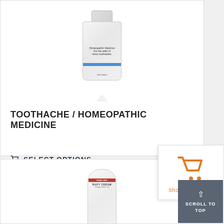[Figure (photo): Homeopathic medicine bottle for toothache relief, white bottle with blue stripe, labeled 'Homeopathic Medicine, For the relief of minor toothaches, 100 Tablets']
TOOTHACHE / HOMEOPATHIC MEDICINE
SELECT OPTIONS
[Figure (illustration): Shopping cart icon in orange color with label 'Shopping Cart']
[Figure (photo): Therapy cream tube, white tube with red label, partially visible text 'HEALING THERAPY CREAM']
SCROLL TO TOP